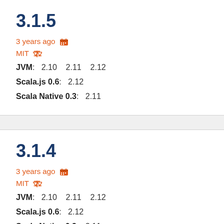3.1.5
3 years ago  [calendar icon]
MIT [scale icon]
JVM:  2.10  2.11  2.12
Scala.js 0.6:  2.12
Scala Native 0.3:  2.11
3.1.4
3 years ago  [calendar icon]
MIT [scale icon]
JVM:  2.10  2.11  2.12
Scala.js 0.6:  2.12
Scala Native 0.3:  2.11